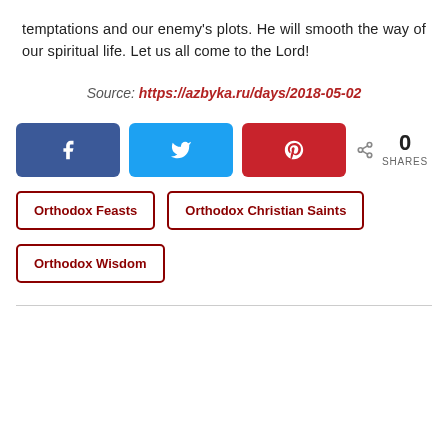temptations and our enemy’s plots. He will smooth the way of our spiritual life. Let us all come to the Lord!
Source: https://azbyka.ru/days/2018-05-02
[Figure (infographic): Social sharing buttons: Facebook (blue), Twitter (cyan), Pinterest (red), and a share count showing 0 SHARES]
Orthodox Feasts
Orthodox Christian Saints
Orthodox Wisdom